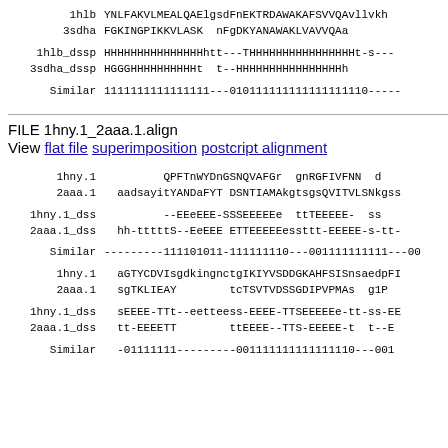1hlb     YNLFAKVLMEALQAElgsdFnEKTRDAWAKAFSVVQAvllvkh
3sdha    FGKINGPIKKVLASK  nFgDKYANAWAKLVAVVQAa
1hlb_dssp   HHHHHHHHHHHHHHHhtt---THHHHHHHHHHHHHHHHt-s---
3sdha_dssp  HGGGHHHHHHHHHHt  t--HHHHHHHHHHHHHHHHh
Similar     1111111111111111---010111111111111111110-----
FILE 1hny.1_2aaa.1.align
View flat file superimposition postcript alignment
1hny.1      QPFTnWYDnGSNQVAFGr  gnRGFIVFNN  d
2aaa.1   aadsayitYANDaFYT DSNTIAMAkgtsgsQVITVLSNkgss
1hny.1_dss          --EEeEEE-SSSEEEEEe  ttTEEEEE-  ss
2aaa.1_dss  hh-tttttS--EeEEE ETTEEEEEessttt-EEEEE-s-tt-
Similar     ---------111101011-111111110---001111111111---00
1hny.1      aGTYCDVIsgdkingnctgIKIYVSDDGKAHFSISnsaedpFI
2aaa.1   sgTKLIEAY        tcTSVTVDSSGDIPVPMAs  g1P
1hny.1_dss  sEEEE-TTt--eetteess-EEEE-TTSEEEEEe-tt-ss-EE
2aaa.1_dss  tt-EEEETT        ttEEEE--TTS-EEEEE-t  t--E
Similar     -01111111---------001111111111111110---001